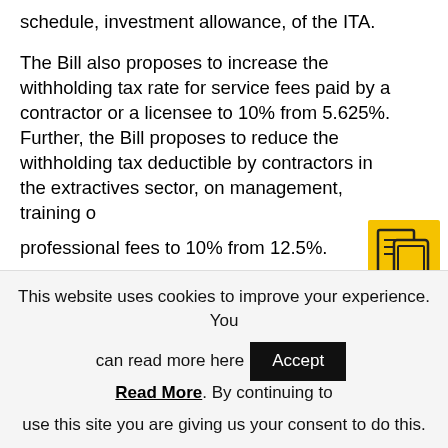schedule, investment allowance, of the ITA.
The Bill also proposes to increase the withholding tax rate for service fees paid by a contractor or a licensee to 10% from 5.625%. Further, the Bill proposes to reduce the withholding tax deductible by contractors in the extractives sector, on management, training or professional fees to 10% from 12.5%.
Proposed effective date: 1 July 2021
7. Digital Service Tax
The Bill proposes to delete section 3(2) (a) of
[Figure (illustration): Yellow icon box showing overlapping document/tablet icons]
This website uses cookies to improve your experience. You can read more here Accept Read More. By continuing to use this site you are giving us your consent to do this.